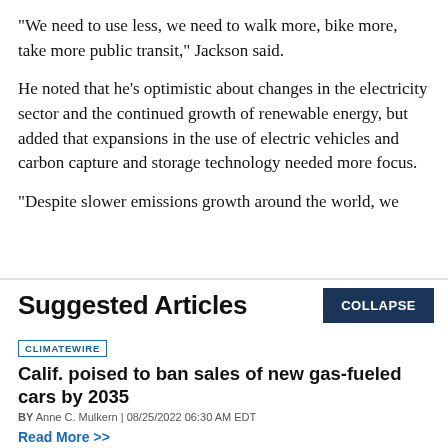"We need to use less, we need to walk more, bike more, take more public transit," Jackson said.
He noted that he’s optimistic about changes in the electricity sector and the continued growth of renewable energy, but added that expansions in the use of electric vehicles and carbon capture and storage technology needed more focus.
"Despite slower emissions growth around the world, we
Suggested Articles
COLLAPSE
CLIMATEWIRE
Calif. poised to ban sales of new gas-fueled cars by 2035
BY Anne C. Mulkern | 08/25/2022 06:30 AM EDT
Read More >>
CLIMATEWIRE
Climate law seen driving ‘demand destruction for fossil fuels’